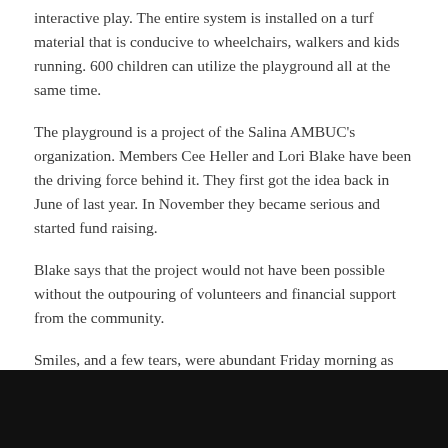interactive play. The entire system is installed on a turf material that is conducive to wheelchairs, walkers and kids running. 600 children can utilize the playground all at the same time.
The playground is a project of the Salina AMBUC's organization. Members Cee Heller and Lori Blake have been the driving force behind it. They first got the idea back in June of last year. In November they became serious and started fund raising.
Blake says that the project would not have been possible without the outpouring of volunteers and financial support from the community.
Smiles, and a few tears, were abundant Friday morning as they watched children play on the equipment. One handicapped little girl touched several hearts as she laughed, and squealed with joy, while being pushed in a